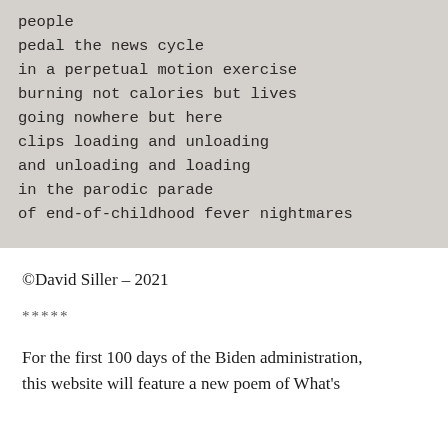people
pedal the news cycle
in a perpetual motion exercise
burning not calories but lives
going nowhere but here
clips loading and unloading
and unloading and loading
in the parodic parade
of end-of-childhood fever nightmares
©David Siller – 2021
*****
For the first 100 days of the Biden administration, this website will feature a new poem of What's